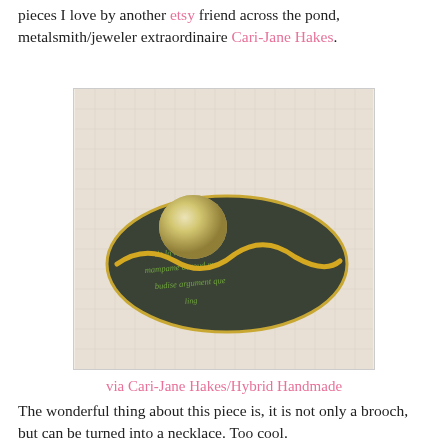pieces I love by another etsy friend across the pond, metalsmith/jeweler extraordinaire Cari-Jane Hakes.
[Figure (photo): A handcrafted brooch/necklace piece by Cari-Jane Hakes showing a dark oval stone or base with green script writing, a gold wavy wire element crossing it horizontally, and a silver/gold domed metallic sphere on top, photographed on a light linen background.]
via Cari-Jane Hakes/Hybrid Handmade
The wonderful thing about this piece is, it is not only a brooch, but can be turned into a necklace. Too cool.